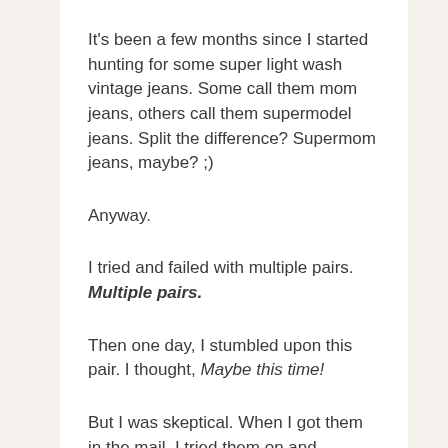It's been a few months since I started hunting for some super light wash vintage jeans. Some call them mom jeans, others call them supermodel jeans. Split the difference? Supermom jeans, maybe? ;)
Anyway.
I tried and failed with multiple pairs. Multiple pairs.
Then one day, I stumbled upon this pair. I thought, Maybe this time!
But I was skeptical. When I got them in the mail, I tried them on and prepared myself for a disappointment.
But they were … working.